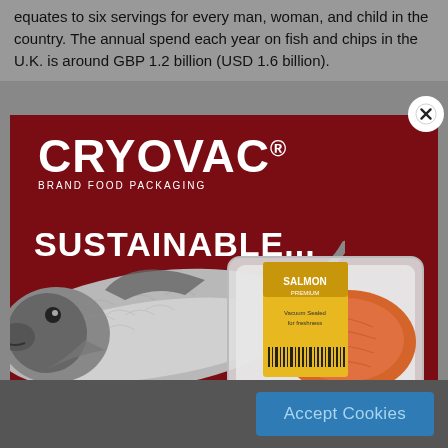equates to six servings for every man, woman, and child in the country. The annual spend each year on fish and chips in the U.K. is around GBP 1.2 billion (USD 1.6 billion).
[Figure (illustration): Cryovac Brand Food Packaging advertisement on dark red/maroon background. Shows CRYOVAC logo at top left, tagline 'SUSTAINABLE...' in large white bold text, a whole salmon fish on the left side, and a packaged salmon product (vacuum sealed tray) on the right. SEE logo in bottom right corner.]
Accept Cookies